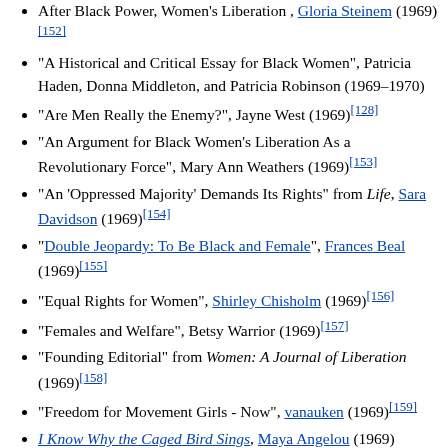After Black Power, Women's Liberation, Gloria Steinem (1969)[152]
"A Historical and Critical Essay for Black Women", Patricia Haden, Donna Middleton, and Patricia Robinson (1969–1970)
"Are Men Really the Enemy?", Jayne West (1969)[128]
"An Argument for Black Women's Liberation As a Revolutionary Force", Mary Ann Weathers (1969)[153]
"An 'Oppressed Majority' Demands Its Rights" from Life, Sara Davidson (1969)[154]
"Double Jeopardy: To Be Black and Female", Frances Beal (1969)[155]
"Equal Rights for Women", Shirley Chisholm (1969)[156]
"Females and Welfare", Betsy Warrior (1969)[157]
"Founding Editorial" from Women: A Journal of Liberation (1969)[158]
"Freedom for Movement Girls - Now", vanauken (1969)[159]
I Know Why the Caged Bird Sings, Maya Angelou (1969)
"Lesbianism and Feminism", Wilda Chase (1969)
"Politics of the Ego: A Manifesto", New York Radical Feminists (1969)[160]
Proposed Statement of Political Principles (1969)[161]
"Radical Feminism and Love", Ti-Grace Atkinson (1969)